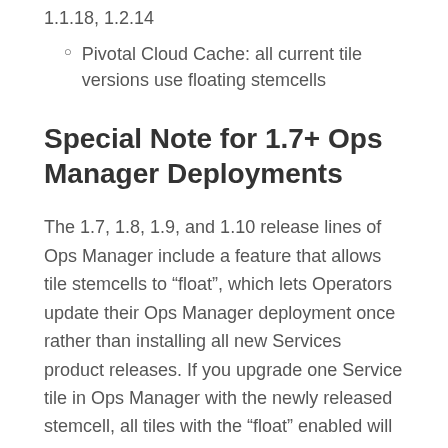1.1.18, 1.2.14
Pivotal Cloud Cache: all current tile versions use floating stemcells
Special Note for 1.7+ Ops Manager Deployments
The 1.7, 1.8, 1.9, and 1.10 release lines of Ops Manager include a feature that allows tile stemcells to “float”, which lets Operators update their Ops Manager deployment once rather than installing all new Services product releases. If you upgrade one Service tile in Ops Manager with the newly released stemcell, all tiles with the “float” enabled will automatically upgrade. For more information about the floating stemcell feature, refer to this document.